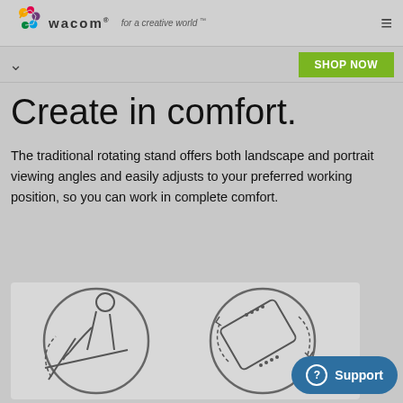wacom — for a creative world™
SHOP NOW
Create in comfort.
The traditional rotating stand offers both landscape and portrait viewing angles and easily adjusts to your preferred working position, so you can work in complete comfort.
[Figure (illustration): Two circular line-art illustrations: left shows a person sitting at a desk using a tablet with a pen at an angle; right shows a tablet device rotating with dashed arrows indicating landscape/portrait rotation.]
Support